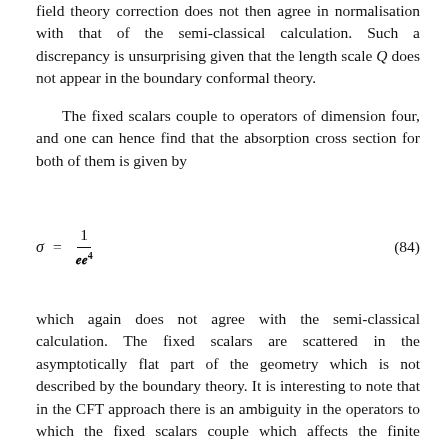field theory correction does not then agree in normalisation with that of the semi-classical calculation. Such a discrepancy is unsurprising given that the length scale Q does not appear in the boundary conformal theory.
The fixed scalars couple to operators of dimension four, and one can hence find that the absorption cross section for both of them is given by
which again does not agree with the semi-classical calculation. The fixed scalars are scattered in the asymptotically flat part of the geometry which is not described by the boundary theory. It is interesting to note that in the CFT approach there is an ambiguity in the operators to which the fixed scalars couple which affects the finite temperature result. We know that the operator has